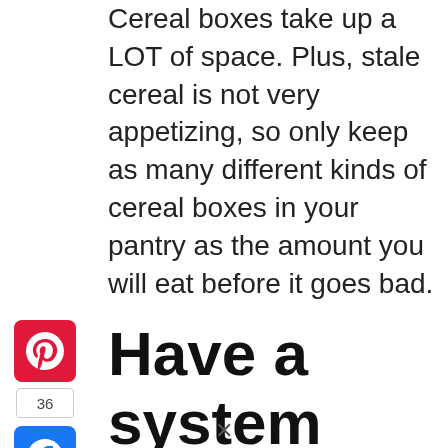Cereal boxes take up a LOT of space. Plus, stale cereal is not very appetizing, so only keep as many different kinds of cereal boxes in your pantry as the amount you will eat before it goes bad.
[Figure (logo): Pinterest share button (red rounded square with white P icon)]
36
[Figure (logo): Facebook share button (blue rounded square with white f icon)]
[Figure (logo): Twitter share button (blue rounded square with white bird icon)]
Have a system
Use a square storage container system that optimizes space use